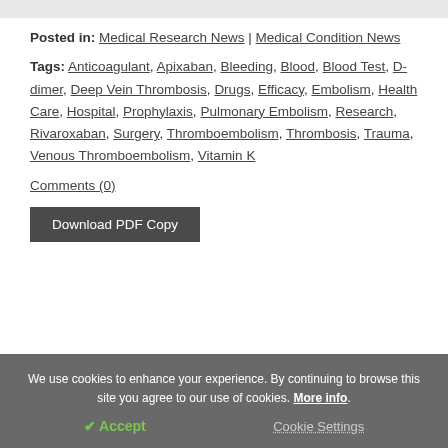Posted in: Medical Research News | Medical Condition News
Tags: Anticoagulant, Apixaban, Bleeding, Blood, Blood Test, D-dimer, Deep Vein Thrombosis, Drugs, Efficacy, Embolism, Health Care, Hospital, Prophylaxis, Pulmonary Embolism, Research, Rivaroxaban, Surgery, Thromboembolism, Thrombosis, Trauma, Venous Thromboembolism, Vitamin K
Comments (0)
Download PDF Copy
We use cookies to enhance your experience. By continuing to browse this site you agree to our use of cookies. More info.
✔ Accept
Cookie Settings